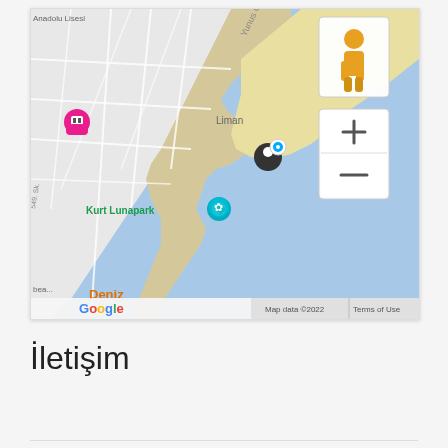[Figure (map): Google Maps embed showing coastal area near Liman, Turkey. Shows Kurt Lunapark, Anadolu Lisesi, Deniz label on water, a location pin marker near the harbor, street view person icon, zoom in/out controls, Google logo, and 'Map data ©2022 Terms of Use' attribution.]
İletişim